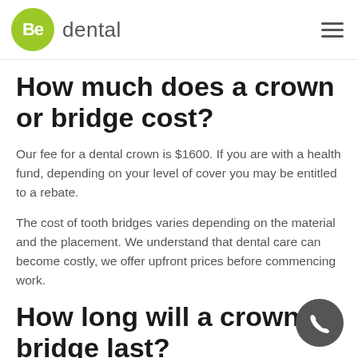Be dental
How much does a crown or bridge cost?
Our fee for a dental crown is $1600. If you are with a health fund, depending on your level of cover you may be entitled to a rebate.
The cost of tooth bridges varies depending on the material and the placement. We understand that dental care can become costly, we offer upfront prices before commencing work.
How long will a crown or bridge last?